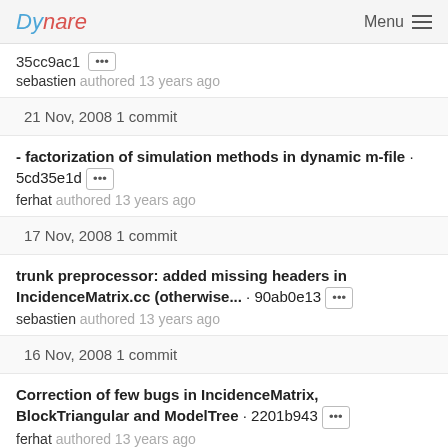Dynare   Menu
35cc9ac1 [···]
sebastien authored 13 years ago
21 Nov, 2008 1 commit
- factorization of simulation methods in dynamic m-file · 5cd35e1d [···]
ferhat authored 13 years ago
17 Nov, 2008 1 commit
trunk preprocessor: added missing headers in IncidenceMatrix.cc (otherwise... · 90ab0e13 [···]
sebastien authored 13 years ago
16 Nov, 2008 1 commit
Correction of few bugs in IncidenceMatrix, BlockTriangular and ModelTree · 2201b943 [···]
ferhat authored 13 years ago